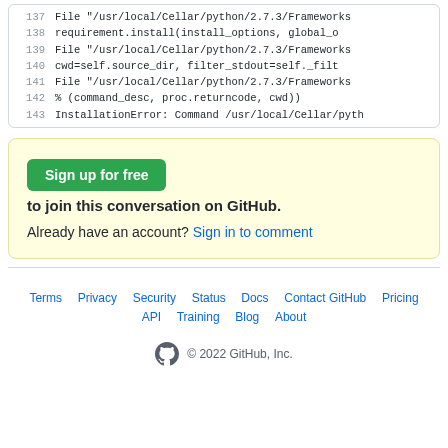[Figure (screenshot): Code block showing lines 137–143 of a Python traceback with line numbers and monospace code]
Sign up for free to join this conversation on GitHub. Already have an account? Sign in to comment
Terms  Privacy  Security  Status  Docs  Contact GitHub  Pricing  API  Training  Blog  About  © 2022 GitHub, Inc.